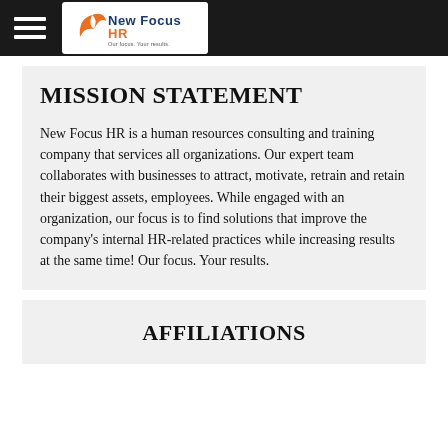[Figure (logo): New Focus HR logo with orange swoosh and tagline 'Our focus. Your results.']
MISSION STATEMENT
New Focus HR is a human resources consulting and training company that services all organizations. Our expert team collaborates with businesses to attract, motivate, retrain and retain their biggest assets, employees. While engaged with an organization, our focus is to find solutions that improve the company's internal HR-related practices while increasing results at the same time! Our focus. Your results.
AFFILIATIONS